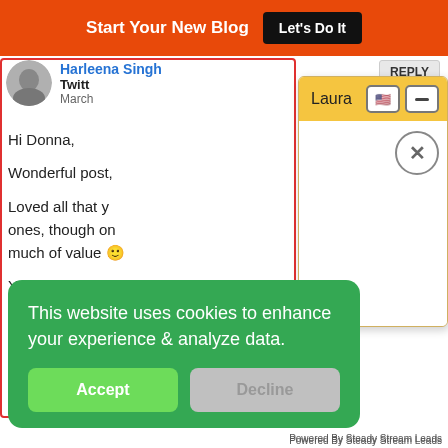Start Your New Blog  Let's Do It
Harleena Singh
Twitter
March
Hi Donna,

Wonderful post,

Loved all that y... ones, though on... much of value

Your three ways... that in place and
[Figure (screenshot): Laura chat dialog box with yellow/orange header, flag and minus icons, close X circle button, white body]
[Figure (screenshot): Green cookie consent banner with text 'This website uses cookies to enhance your experience & analyze data.' and Accept/Decline buttons]
Powered By Steady Stream Leads